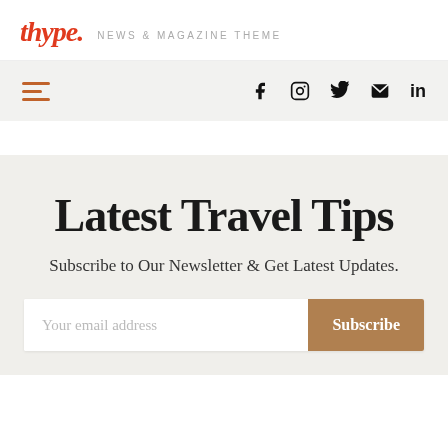thype. NEWS & MAGAZINE THEME
[Figure (other): Navigation bar with hamburger menu icon on the left and social media icons (Facebook, Instagram, Twitter, Email, LinkedIn) on the right]
Latest Travel Tips
Subscribe to Our Newsletter & Get Latest Updates.
Your email address  Subscribe